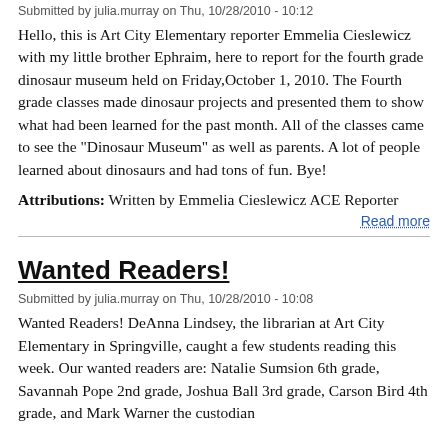Submitted by julia.murray on Thu, 10/28/2010 - 10:12
Hello, this is Art City Elementary reporter Emmelia Cieslewicz with my little brother Ephraim, here to report for the fourth grade dinosaur museum held on Friday,October 1, 2010. The Fourth grade classes made dinosaur projects and presented them to show what had been learned for the past month. All of the classes came to see the "Dinosaur Museum" as well as parents. A lot of people learned about dinosaurs and had tons of fun. Bye!
Attributions:  Written by Emmelia Cieslewicz ACE Reporter
Read more
Wanted Readers!
Submitted by julia.murray on Thu, 10/28/2010 - 10:08
Wanted Readers! DeAnna Lindsey, the librarian at Art City Elementary in Springville, caught a few students reading this week. Our wanted readers are: Natalie Sumsion 6th grade, Savannah Pope 2nd grade, Joshua Ball 3rd grade, Carson Bird 4th grade, and Mark Warner the custodian